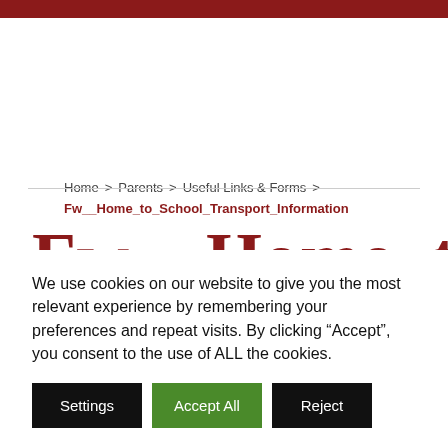Home > Parents > Useful Links & Forms > Fw__Home_to_School_Transport_Information
Fw    Home  to  Sch
We use cookies on our website to give you the most relevant experience by remembering your preferences and repeat visits. By clicking “Accept”, you consent to the use of ALL the cookies.